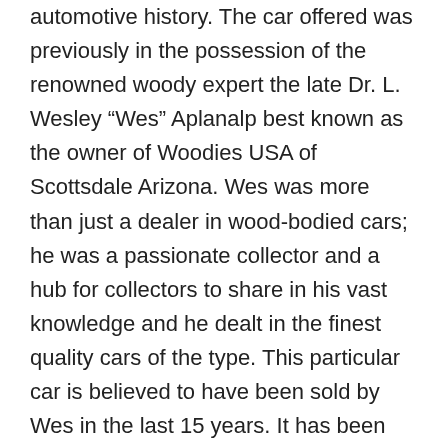automotive history. The car offered was previously in the possession of the renowned woody expert the late Dr. L. Wesley “Wes” Aplanalp best known as the owner of Woodies USA of Scottsdale Arizona. Wes was more than just a dealer in wood-bodied cars; he was a passionate collector and a hub for collectors to share in his vast knowledge and he dealt in the finest quality cars of the type. This particular car is believed to have been sold by Wes in the last 15 years. It has been comprehensively refurbished and restored and presents in stunningly beautiful condition today. It is highly original and as such the body appears never to have been off the chassis. Remarkably the extensive wood work is highly original. The wood in these cars is not just decorative it is integral to the structure of the body and as such it can be subjected to stresses. Few have survived the elements and the rigors of regular